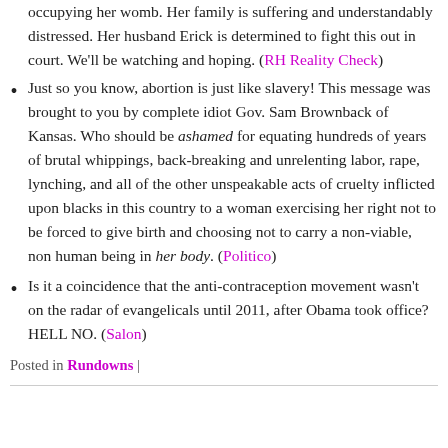occupying her womb. Her family is suffering and understandably distressed. Her husband Erick is determined to fight this out in court. We’ll be watching and hoping. (RH Reality Check)
Just so you know, abortion is just like slavery! This message was brought to you by complete idiot Gov. Sam Brownback of Kansas. Who should be ashamed for equating hundreds of years of brutal whippings, back-breaking and unrelenting labor, rape, lynching, and all of the other unspeakable acts of cruelty inflicted upon blacks in this country to a woman exercising her right not to be forced to give birth and choosing not to carry a non-viable, non human being in her body. (Politico)
Is it a coincidence that the anti-contraception movement wasn’t on the radar of evangelicals until 2011, after Obama took office? HELL NO. (Salon)
Posted in Rundowns |